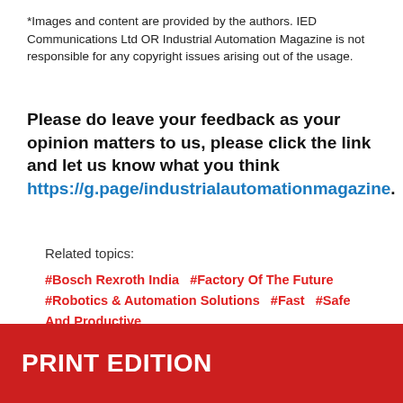*Images and content are provided by the authors. IED Communications Ltd OR Industrial Automation Magazine is not responsible for any copyright issues arising out of the usage.
Please do leave your feedback as your opinion matters to us, please click the link and let us know what you think https://g.page/industrialautomationmagazine.
Related topics:
#Bosch Rexroth India   #Factory Of The Future   #Robotics & Automation Solutions   #Fast   #Safe And Productive
PRINT EDITION